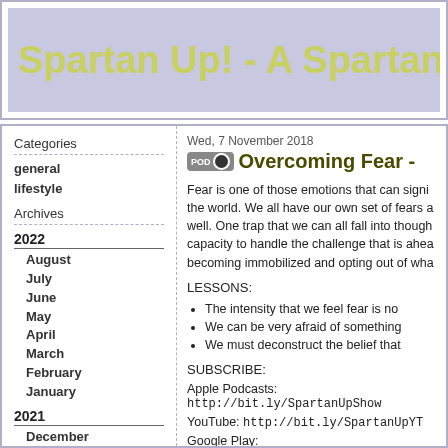Spartan Up! - A Spartan Ra
Categories
general
lifestyle
Archives
2022
August
July
June
May
April
March
February
January
2021
December
November
October
September
Wed, 7 November 2018
Overcoming Fear -
Fear is one of those emotions that can signi the world. We all have our own set of fears a well. One trap that we can all fall into though capacity to handle the challenge that is ahea becoming immobilized and opting out of wha
LESSONS:
The intensity that we feel fear is no
We can be very afraid of something
We must deconstruct the belief that
SUBSCRIBE:
Apple Podcasts: http://bit.ly/SpartanUpShow
YouTube: http://bit.ly/SpartanUpYT
Google Play: http://bit.ly/SpartanUpPlay